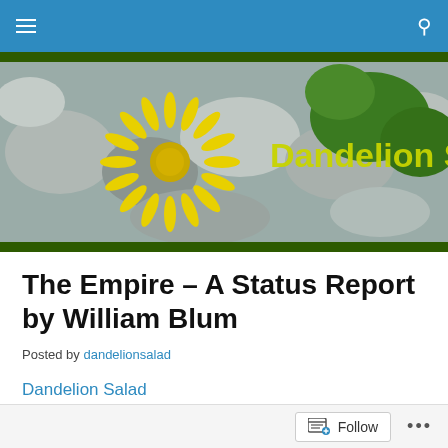Navigation bar with menu and search icons
[Figure (photo): Banner photo of a yellow dandelion flower on a rocky background with the text 'Dandelion Salad' in yellow overlay]
The Empire – A Status Report by William Blum
Posted by dandelionsalad
Dandelion Salad
Follow  ...